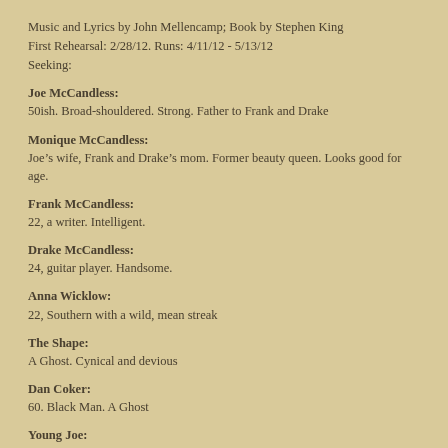Music and Lyrics by John Mellencamp; Book by Stephen King
First Rehearsal: 2/28/12. Runs: 4/11/12 - 5/13/12
Seeking:
Joe McCandless:
50ish. Broad-shouldered. Strong. Father to Frank and Drake
Monique McCandless:
Joe’s wife, Frank and Drake’s mom. Former beauty queen. Looks good for age.
Frank McCandless:
22, a writer. Intelligent.
Drake McCandless:
24, guitar player. Handsome.
Anna Wicklow:
22, Southern with a wild, mean streak
The Shape:
A Ghost. Cynical and devious
Dan Coker:
60. Black Man. A Ghost
Young Joe: